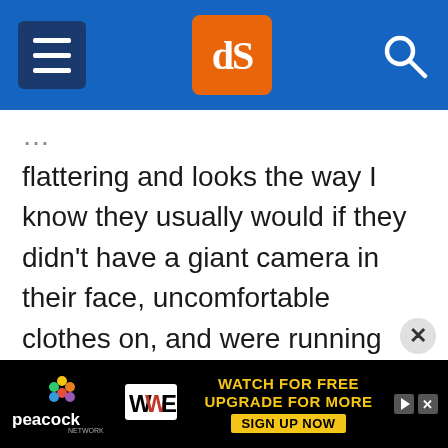dPS navigation header with hamburger menu, dPS logo, and search icon
flattering and looks the way I know they usually would if they didn't have a giant camera in their face, uncomfortable clothes on, and were running around after kids, or just generally feeling awkward like people tend to when someone is taking their picture.
[Figure (screenshot): Advertisement banner for Peacock streaming service featuring WWE content. Text reads: WATCH FOR FREE, UPGRADE FOR MORE, SIGN UP NOW. Shows Peacock logo, WWE logo, and ad control icons.]